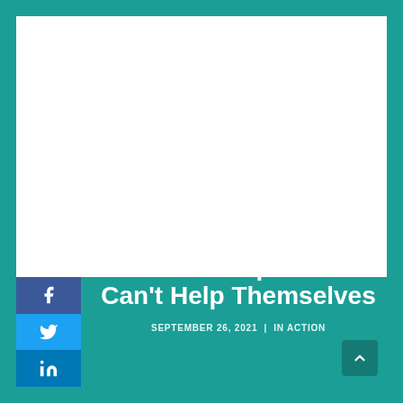[Figure (photo): White blank image area at the top of the page]
Seattle Cops Just Can't Help Themselves
SEPTEMBER 26, 2021  |  IN ACTION